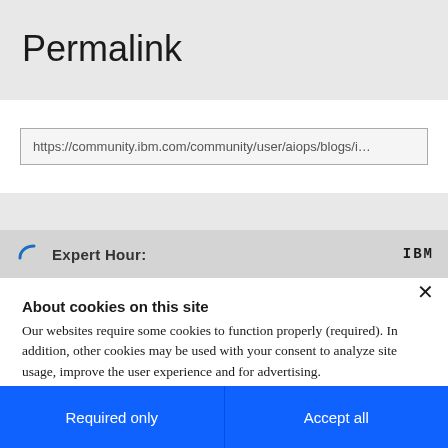Permalink
https://community.ibm.com/community/user/aiops/blogs/i…
Expert Hour:
IBM
About cookies on this site
Our websites require some cookies to function properly (required). In addition, other cookies may be used with your consent to analyze site usage, improve the user experience and for advertising.
For more information, please review your Cookie preferences options and IBM’s privacy statement.
Required only
Accept all